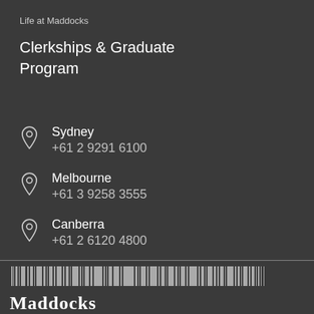Life at Maddocks
Clerkships & Graduate Program
Sydney
+61 2 9291 6100
Melbourne
+61 3 9258 3555
Canberra
+61 2 6120 4800
[Figure (other): Barcode at bottom of page]
Maddocks